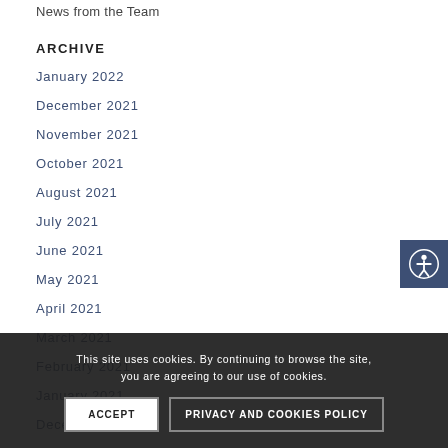News from the Team
ARCHIVE
January 2022
December 2021
November 2021
October 2021
August 2021
July 2021
June 2021
May 2021
April 2021
March 2021
February 2021
January 2021
December 2020
November 2020
This site uses cookies. By continuing to browse the site, you are agreeing to our use of cookies.